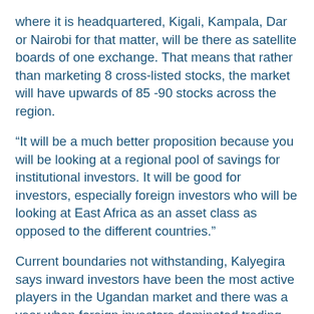where it is headquartered, Kigali, Kampala, Dar or Nairobi for that matter, will be there as satellite boards of one exchange. That means that rather than marketing 8 cross-listed stocks, the market will have upwards of 85 -90 stocks across the region.
“It will be a much better proposition because you will be looking at a regional pool of savings for institutional investors. It will be good for investors, especially foreign investors who will be looking at East Africa as an asset class as opposed to the different countries.”
Current boundaries not withstanding, Kalyegira says inward investors have been the most active players in the Ugandan market and there was a year when foreign investors dominated trading on the USE especially on counters such as power distributor UMEME.
“Foreign investors see value in our market because they are looking for yields which they can’t find anywhere else. Our